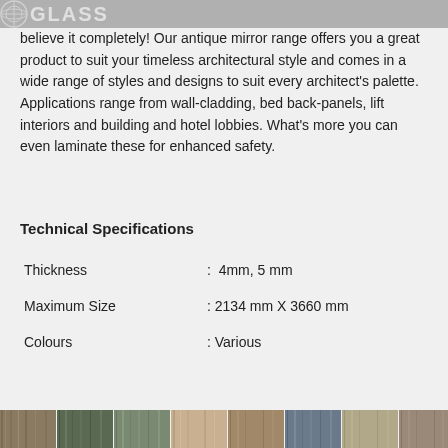GLASS
believe it completely! Our antique mirror range offers you a great product to suit your timeless architectural style and comes in a wide range of styles and designs to suit every architect's palette. Applications range from wall-cladding, bed back-panels, lift interiors and building and hotel lobbies. What's more you can even laminate these for enhanced safety.
Technical Specifications
| Thickness | :  4mm, 5 mm |
| Maximum Size | : 2134 mm X 3660 mm |
| Colours | : Various |
[Figure (photo): Strip of decorative panel/veneer texture samples at the bottom of the page]